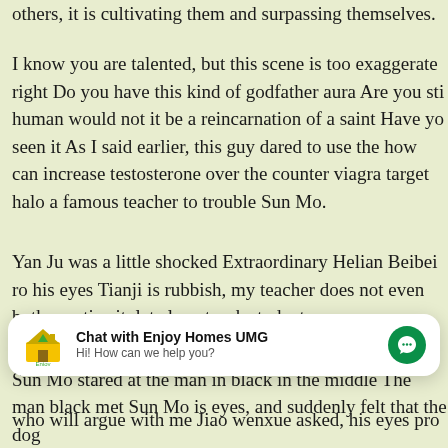others, it is cultivating them and surpassing themselves.
I know you are talented, but this scene is too exaggerated right Do you have this kind of godfather aura Are you still human would not it be a reincarnation of a saint Have yo seen it As I said earlier, this guy dared to use the how can increase testosterone over the counter viagra target halo a famous teacher to trouble Sun Mo.
Yan Ju was a little shocked Extraordinary Helian Beibei ro his eyes Tianji is rubbish, my teacher does not even both practice it, let alone teach students.
The two people were shocked, Sun Heiquan was so stro Sun Mo stared at the man in black in the middle The man black met Sun Mo is eyes, and suddenly felt that the dog
[Figure (screenshot): Chat widget overlay: 'Chat with Enjoy Homes UMG' with logo and messenger icon button, subtitle 'Hi! How can we help you?']
who will argue with me Jiao wenxue asked, his eyes pro